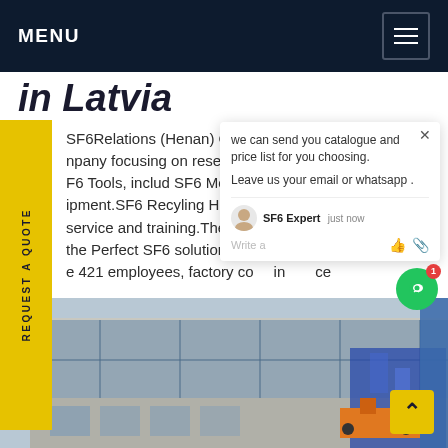MENU
in Latvia
SF6Relations (Henan) Co., Ltd. is a professional company focusing on research, production and sales SF6 Tools, includ SF6 Monitoring A... ipment.SF6 Recyling Handling Eq... On-service and training.There is a p... the Perfect SF6 solution for all y... Ve e 421 employees, factory co... in... ce
[Figure (screenshot): Chat popup overlay with message: 'we can send you catalogue and price list for you choosing. Leave us your email or whatsapp.' With SF6 Expert agent, 'just now' timestamp, and write/thumbs up/attachment icons. Green chat button with notification badge '1' on right.]
[Figure (photo): Photo of industrial or commercial building facade with glass windows and blue/orange industrial equipment visible]
REQUEST A QUOTE